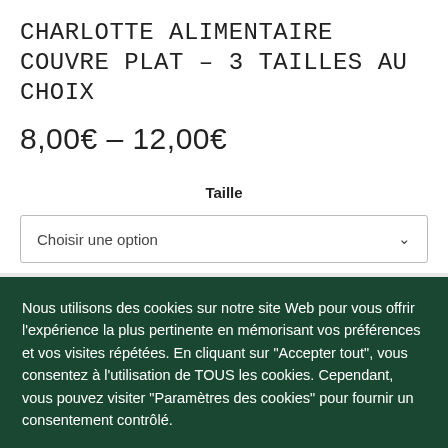Charlotte alimentaire couvre plat – 3 tailles au choix
8,00€ – 12,00€
Taille
Choisir une option
Nous utilisons des cookies sur notre site Web pour vous offrir l'expérience la plus pertinente en mémorisant vos préférences et vos visites répétées. En cliquant sur "Accepter tout", vous consentez à l'utilisation de TOUS les cookies. Cependant, vous pouvez visiter "Paramètres des cookies" pour fournir un consentement contrôlé.
Paramètres des cookies
Accepter tout